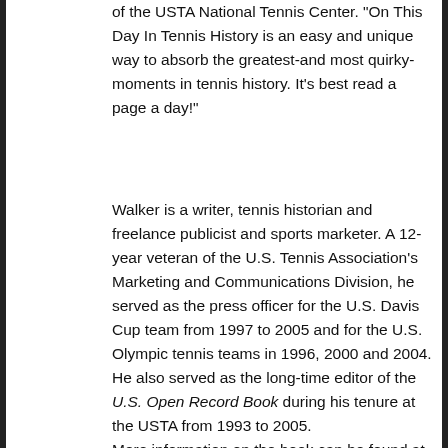of the USTA National Tennis Center. "On This Day In Tennis History is an easy and unique way to absorb the greatest-and most quirky-moments in tennis history. It's best read a page a day!"
Walker is a writer, tennis historian and freelance publicist and sports marketer. A 12-year veteran of the U.S. Tennis Association's Marketing and Communications Division, he served as the press officer for the U.S. Davis Cup team from 1997 to 2005 and for the U.S. Olympic tennis teams in 1996, 2000 and 2004. He also served as the long-time editor of the U.S. Open Record Book during his tenure at the USTA from 1993 to 2005. More information on the book can be found at www.tennistomes.com as well as on facebook